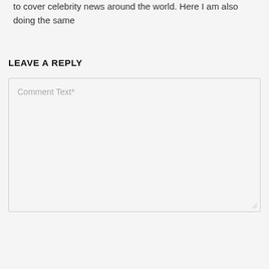to cover celebrity news around the world. Here I am also doing the same
LEAVE A REPLY
[Figure (other): Comment text input textarea with placeholder text 'Comment Text*' and resize handle in bottom-right corner]